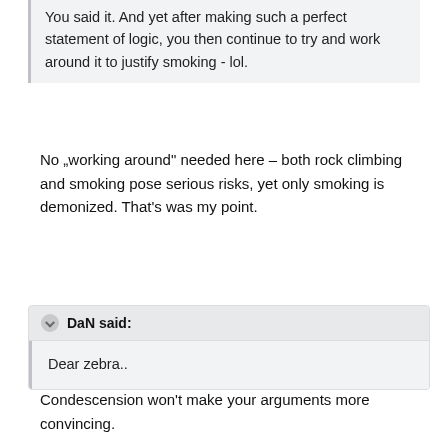You said it. And yet after making such a perfect statement of logic, you then continue to try and work around it to justify smoking - lol.
No „working around" needed here – both rock climbing and smoking pose serious risks, yet only smoking is demonized. That's was my point.
DaN said:
Dear zebra..
Condescension won't make your arguments more convincing.